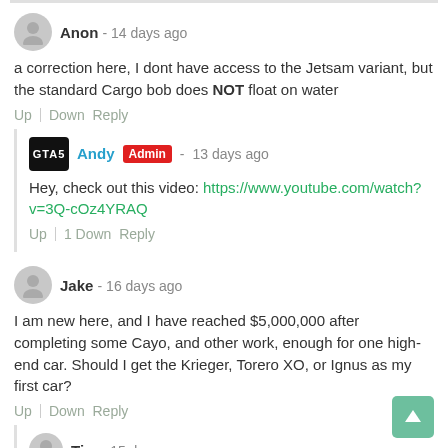Anon - 14 days ago
a correction here, I dont have access to the Jetsam variant, but the standard Cargo bob does NOT float on water
Up | Down Reply
Andy Admin - 13 days ago
Hey, check out this video: https://www.youtube.com/watch?v=3Q-cOz4YRAQ
Up | 1 Down Reply
Jake - 16 days ago
I am new here, and I have reached $5,000,000 after completing some Cayo, and other work, enough for one high-end car. Should I get the Krieger, Torero XO, or Ignus as my first car?
Up | Down Reply
Tim - 15 days ago